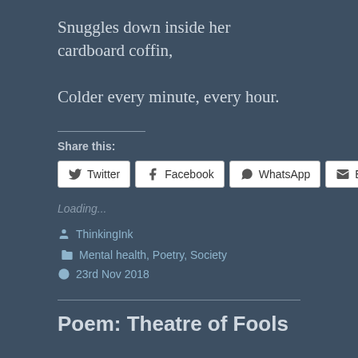Snuggles down inside her cardboard coffin,
Colder every minute, every hour.
Share this:
[Figure (other): Social sharing buttons: Twitter, Facebook, WhatsApp, Email]
Loading...
ThinkingInk   Mental health, Poetry, Society   23rd Nov 2018
Poem: Theatre of Fools